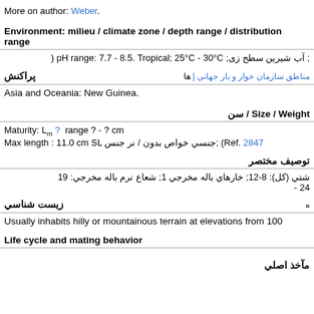More on author: Weber.
Environment: milieu / climate zone / depth range / distribution range
; آب شیرین سطح زی; pH range: 7.7 - 8.5. Tropical; 25°C - 30°C (
پراکنش | مناطق سازمان خوار و بار جهاني | ها
Asia and Oceania: New Guinea.
Size / Weight / سن
Maturity: Lm ?  range ? - ? cm
Max length : 11.0 cm SL جنسي خواص بدون / نر جنس; (Ref. 2847
توصيف مختصر
شتي (كل): 8-12; خارهاي باله مخرجي 1; شعاع نرم باله مخرجي: 19
24 -
زيست شناسي | ه
Usually inhabits hilly or mountainous terrain at elevations from 100
Life cycle and mating behavior
مآخذ اصلي